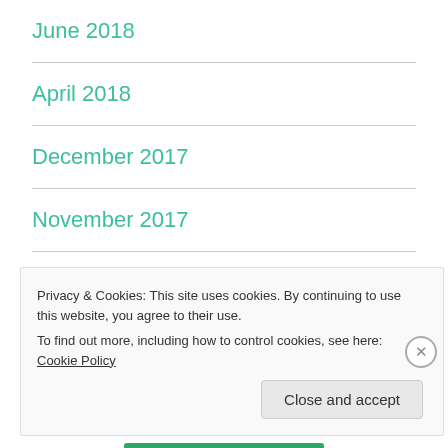June 2018
April 2018
December 2017
November 2017
September 2017
August 2017
Privacy & Cookies: This site uses cookies. By continuing to use this website, you agree to their use.
To find out more, including how to control cookies, see here: Cookie Policy
Close and accept